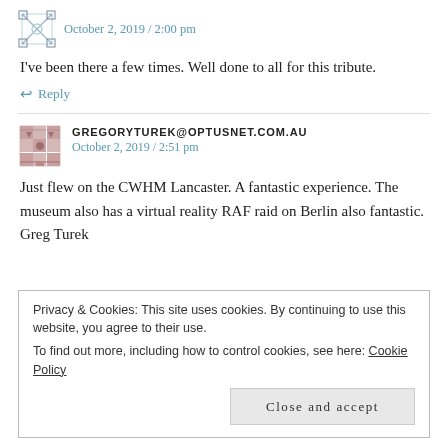October 2, 2019 / 2:00 pm
I've been there a few times. Well done to all for this tribute.
↩ Reply
GREGORYTUREK@OPTUSNET.COM.AU
October 2, 2019 / 2:51 pm
Just flew on the CWHM Lancaster. A fantastic experience. The museum also has a virtual reality RAF raid on Berlin also fantastic.
Greg Turek
Privacy & Cookies: This site uses cookies. By continuing to use this website, you agree to their use.
To find out more, including how to control cookies, see here: Cookie Policy
Close and accept